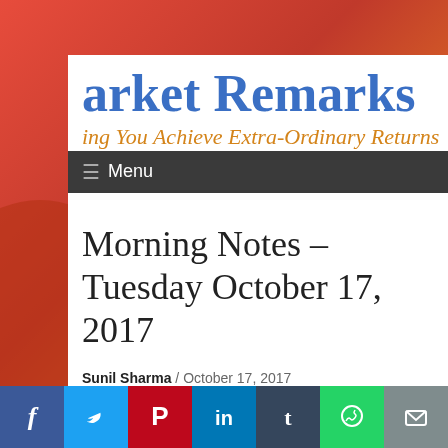arket Remarks
ing You Achieve Extra-Ordinary Returns
≡ Menu
Morning Notes – Tuesday October 17, 2017
Sunil Sharma / October 17, 2017